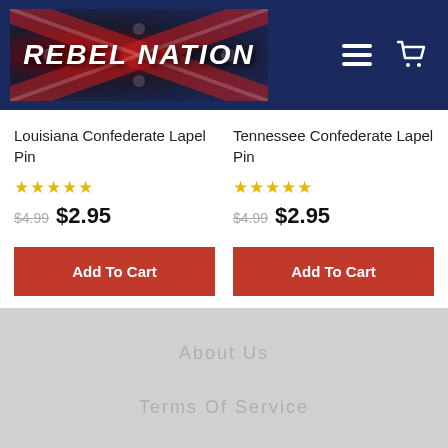[Figure (logo): Rebel Nation logo with Confederate flag background, white bold italic text reading REBEL NATION, hamburger menu icon and shopping cart icon on dark navy header]
Louisiana Confederate Lapel Pin
★★★★★ $4.99 $2.95
Add To Cart
Tennessee Confederate Lapel Pin
★★★★★ $4.99 $2.95
Add To Cart
About Us
Terms Of Service
Privacy Policy